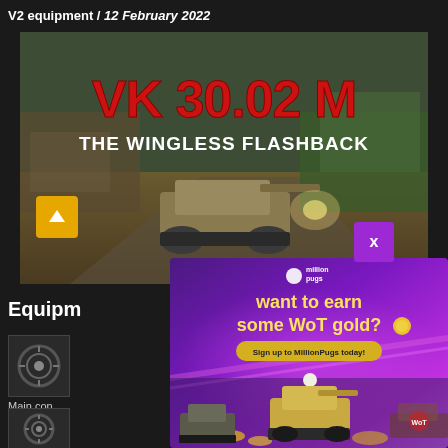V2 equipment / 12 February 2022
[Figure (screenshot): World of Tanks game screenshot showing a tank in a battlefield scene with large red text 'VK 30.02 M' and white subtitle 'THE WINGLESS FLASHBACK']
[Figure (advertisement): MillionPugs advertisement overlay with purple gradient background, yellow text 'want to earn some WoT gold?' with a coin emoji, and a 'Sign up to MillionPugs today!' button, tank imagery at bottom]
Equipm...
[Figure (illustration): Equipment icon - circular mechanical component (first)]
Main co...
[Figure (illustration): Equipment icon - circular mechanical component (second)]